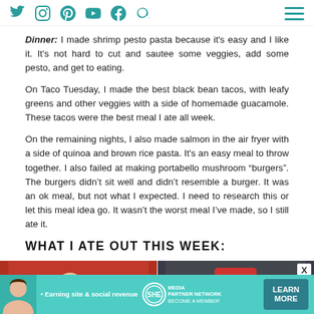Social media icons: Twitter, Instagram, Pinterest, YouTube, Facebook, Search, and hamburger menu
Dinner: I made shrimp pesto pasta because it's easy and I like it. It's not hard to cut and sautee some veggies, add some pesto, and get to eating.
On Taco Tuesday, I made the best black bean tacos, with leafy greens and other veggies with a side of homemade guacamole. These tacos were the best meal I ate all week.
On the remaining nights, I also made salmon in the air fryer with a side of quinoa and brown rice pasta. It's an easy meal to throw together. I also failed at making portabello mushroom “burgers”. The burgers didn't sit well and didn't resemble a burger. It was an ok meal, but not what I expected. I need to research this or let this meal idea go. It wasn't the worst meal I've made, so I still ate it.
WHAT I ATE OUT THIS WEEK:
[Figure (photo): Two photos side by side: left shows a red bowl with dumplings/food, right shows someone holding a McDonald's bag in a car]
[Figure (infographic): Advertisement banner: SHE Media Partner Network - Earning site & social revenue - LEARN MORE - BECOME A MEMBER]